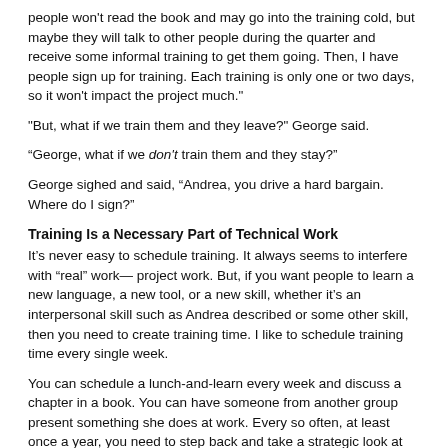people won't read the book and may go into the training cold, but maybe they will talk to other people during the quarter and receive some informal training to get them going. Then, I have people sign up for training. Each training is only one or two days, so it won't impact the project much."
"But, what if we train them and they leave?" George said.
“George, what if we don’t train them and they stay?”
George sighed and said, “Andrea, you drive a hard bargain. Where do I sign?”
Training Is a Necessary Part of Technical Work
It’s never easy to schedule training. It always seems to interfere with "real" work— project work. But, if you want people to learn a new language, a new tool, or a new skill, whether it’s an interpersonal skill such as Andrea described or some other skill, then you need to create training time. I like to schedule training time every single week.
You can schedule a lunch-and-learn every week and discuss a chapter in a book. You can have someone from another group present something she does at work. Every so often, at least once a year, you need to step back and take a strategic look at your team or group and ask yourself, "Is there something people should be learning?" Even better, ask the people in your group, "What do you need to learn?" They will tell you.
If you are worried about the frequency of imposing learning on people, ask them if it’s too often. They will tell you if it’s too much. You have options, such as taking a break between books for a few weeks, scheduling lunch-